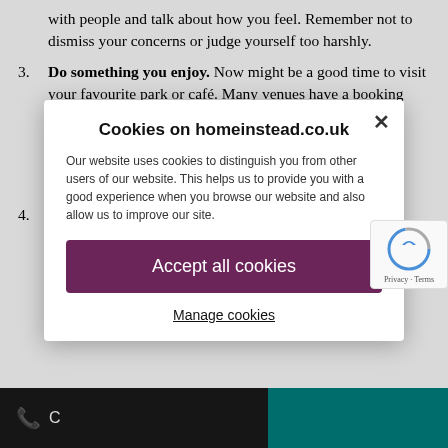with people and talk about how you feel. Remember not to dismiss your concerns or judge yourself too harshly.
Do something you enjoy. Now might be a good time to visit your favourite park or café. Many venues have a booking system in place, such as the National Trust, in which the number of people allowed to visit at any given time is limited. This will make kee... and could... help to ch... favourite... crowded.
Build up t... challenge... d...
Cookies on homeinstead.co.uk
Our website uses cookies to distinguish you from other users of our website. This helps us to provide you with a good experience when you browse our website and also allow us to improve our site.
Accept all cookies
Manage cookies